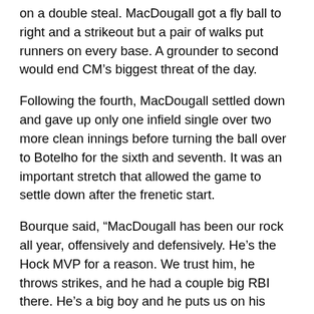on a double steal. MacDougall got a fly ball to right and a strikeout but a pair of walks put runners on every base. A grounder to second would end CM's biggest threat of the day.
Following the fourth, MacDougall settled down and gave up only one infield single over two more clean innings before turning the ball over to Botelho for the sixth and seventh. It was an important stretch that allowed the game to settle down after the frenetic start.
Bourque said, “MacDougall has been our rock all year, offensively and defensively. He’s the Hock MVP for a reason. We trust him, he throws strikes, and he had a couple big RBI there. He’s a big boy and he puts us on his back.”
In the fifth, Taunton got a key insurance run again with two outs. Evan Cali turned on a pitch and lined a ball into the right field corner. He raced around on his way to third with a triple. The relay to third sailed and bounced into the CM dugout, allowing Cali to score and doubled the advantage.